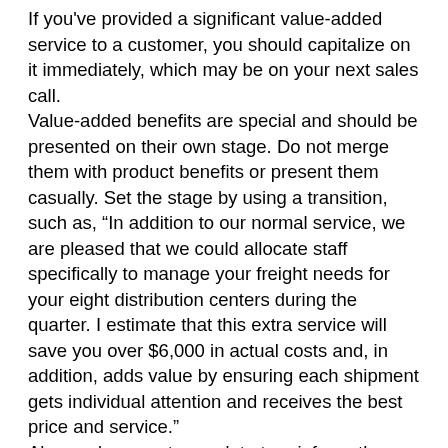If you've provided a significant value-added service to a customer, you should capitalize on it immediately, which may be on your next sales call. Value-added benefits are special and should be presented on their own stage. Do not merge them with product benefits or present them casually. Set the stage by using a transition, such as, “In addition to our normal service, we are pleased that we could allocate staff specifically to manage your freight needs for your eight distribution centers during the quarter. I estimate that this extra service will save you over $6,000 in actual costs and, in addition, adds value by ensuring each shipment gets individual attention and receives the best price and service.” Always document your data to reinforce the specific and measurable values. Either show the customer your figures in a clear presentation prepared in advance, or dramatically recreate your estimates and calculations on the spot.